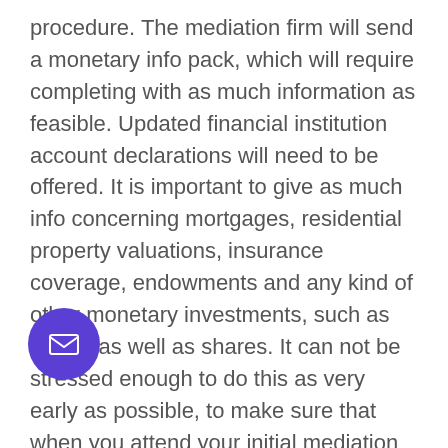procedure. The mediation firm will send a monetary info pack, which will require completing with as much information as feasible. Updated financial institution account declarations will need to be offered. It is important to give as much info concerning mortgages, residential property valuations, insurance coverage, endowments and any kind of other monetary investments, such as stocks as well as shares. It can not be stressed enough to do this as very early as possible, to make sure that when you attend your initial mediation session, you will be prepared as well as your time in mediation will certainly work. It is necessary to remember, that you need to reveal all your economic assets. This consists of jewellery, as well as those off-shore checking account itish Virgin Islands! It is essential to not simply c properties, yet also financial debts, which might be credit score or store cards. Furthermore, there
[Figure (other): Purple circular email button with white envelope icon]